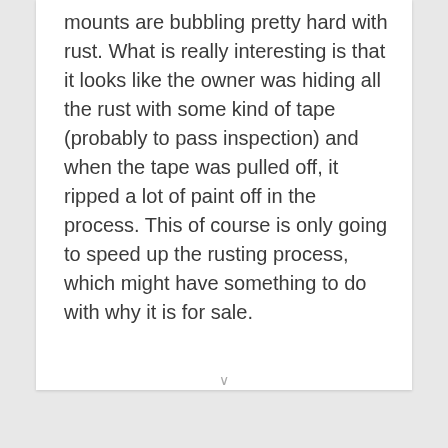mounts are bubbling pretty hard with rust. What is really interesting is that it looks like the owner was hiding all the rust with some kind of tape (probably to pass inspection) and when the tape was pulled off, it ripped a lot of paint off in the process. This of course is only going to speed up the rusting process, which might have something to do with why it is for sale.